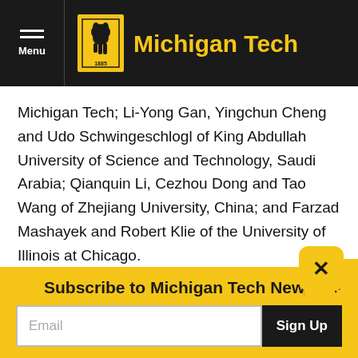Michigan Tech
Michigan Tech; Li-Yong Gan, Yingchun Cheng and Udo Schwingeschlogl of King Abdullah University of Science and Technology, Saudi Arabia; Qianquin Li, Cezhou Dong and Tao Wang of Zhejiang University, China; and Farzad Mashayek and Robert Klie of the University of Illinois at Chicago.
Subscribe to Michigan Tech News
Email
Sign Up
Top